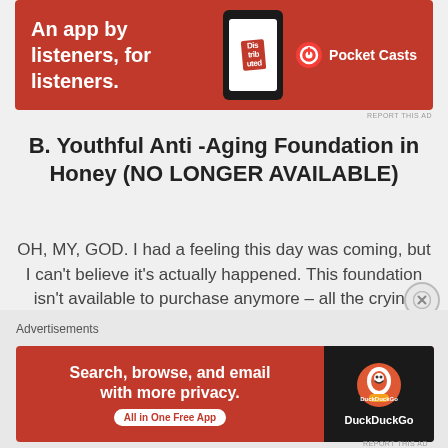[Figure (other): Pocket Casts advertisement banner — red background, text 'An app by listeners, for listeners.' with phone graphic and Pocket Casts logo]
B. Youthful Anti -Aging Foundation in Honey (NO LONGER AVAILABLE)
OH, MY, GOD. I had a feeling this day was coming, but I can't believe it's actually happened. This foundation isn't available to purchase anymore – all the crying emojis – this is one of my favourite foundations. Not only is it a great colour match for me, it's the perfect consistency. It's not too thick or thin, it's medium coverage but buildable, it's moisturising but not oily. It's just brilliant and I am
Advertisements
[Figure (other): DuckDuckGo advertisement banner — red background, text 'Search, browse, and email with more privacy. All in One Free App' with DuckDuckGo logo on dark right panel]